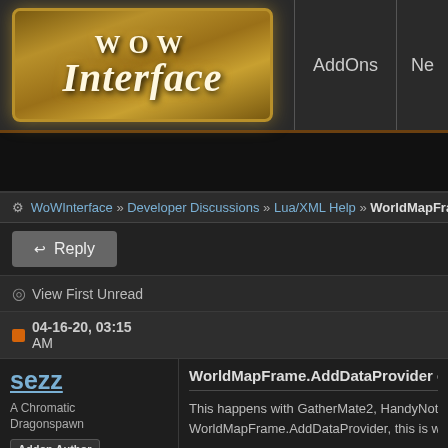[Figure (logo): WoW Interface logo — stylized gold ornate frame with 'WoW Interface' text]
AddOns | Ne
WoWInterface » Developer Discussions » Lua/XML Help » WorldMapFrame.AddDa
Reply
View First Unread
04-16-20, 03:15 AM
sezz
A Chromatic Dragonspawn
Addon Author
Join Date: Apr 2008
Posts: 158
WorldMapFrame.AddDataProvider causes ObjectiveTrac
This happens with GatherMate2, HandyNotes, Wo WorldMapFrame.AddDataProvider, this is what all
Code: